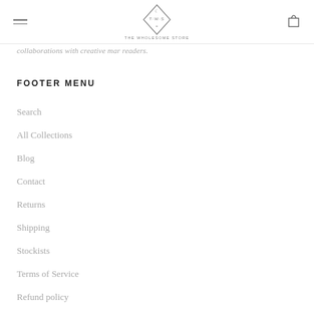THE WHOLESOME STORE
collaborations with creative mar readers.
FOOTER MENU
Search
All Collections
Blog
Contact
Returns
Shipping
Stockists
Terms of Service
Refund policy